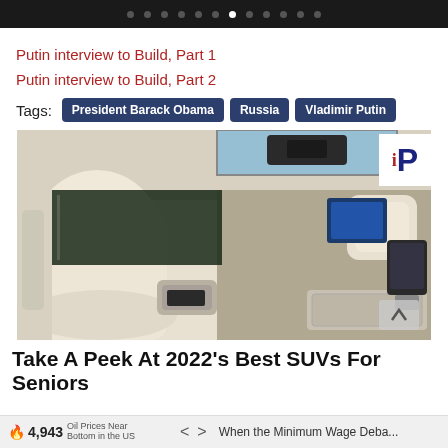navigation dots bar
Putin interview to Build, Part 1
Putin interview to Build, Part 2
Tags: President Barack Obama  Russia  Vladimir Putin
[Figure (photo): Luxury car interior showing cream/white leather seats, rear passenger area with fold-out tables and entertainment screens]
Take A Peek At 2022's Best SUVs For Seniors
4,943  Oil Prices Near Bottom in the US    <  >  When the Minimum Wage Deba...